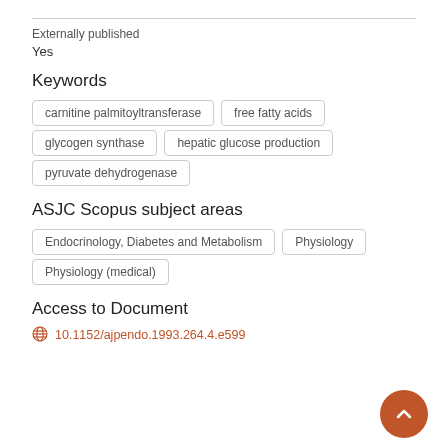Externally published
Yes
Keywords
carnitine palmitoyltransferase
free fatty acids
glycogen synthase
hepatic glucose production
pyruvate dehydrogenase
ASJC Scopus subject areas
Endocrinology, Diabetes and Metabolism
Physiology
Physiology (medical)
Access to Document
10.1152/ajpendo.1993.264.4.e599